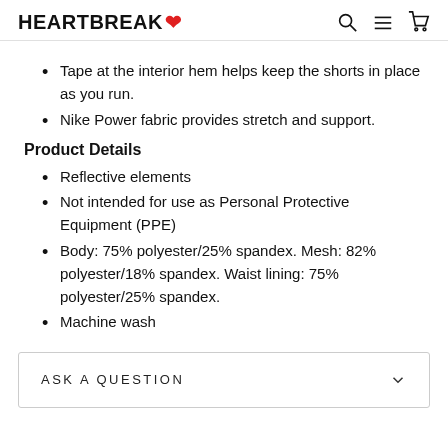HEARTBREAK [heart logo] [search icon] [menu icon] [cart icon]
Tape at the interior hem helps keep the shorts in place as you run.
Nike Power fabric provides stretch and support.
Product Details
Reflective elements
Not intended for use as Personal Protective Equipment (PPE)
Body: 75% polyester/25% spandex. Mesh: 82% polyester/18% spandex. Waist lining: 75% polyester/25% spandex.
Machine wash
ASK A QUESTION